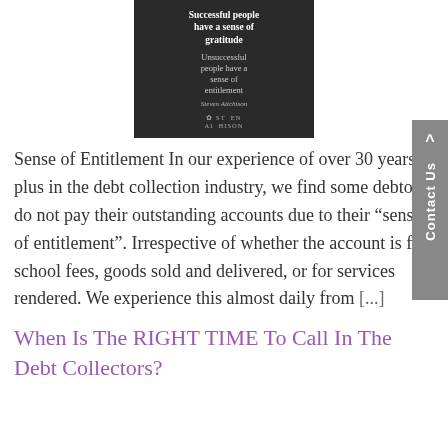[Figure (illustration): Black and white inspirational quote image with a woman sitting cross-legged. Text reads: 'Successful people have a sense of gratitude. Unsuccessful people have a sense of entitlement. Steven Aitchison'. Steven Aitchison logo at the bottom.]
Sense of Entitlement In our experience of over 30 years plus in the debt collection industry, we find some debtors do not pay their outstanding accounts due to their “sense of entitlement”. Irrespective of whether the account is for school fees, goods sold and delivered, or for services rendered. We experience this almost daily from [...]
When Is The RIGHT TIME To Call In The Debt Collectors?